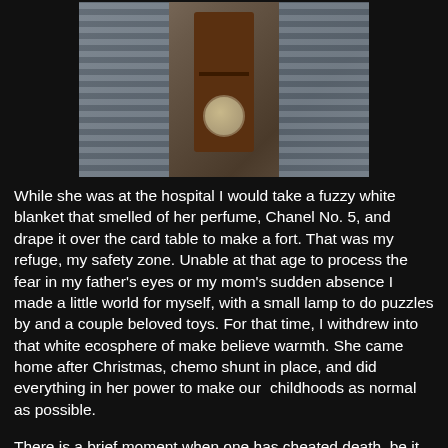[Figure (photo): A photograph showing two plaid/checkered upholstered chairs or seats on either side, with a dark wooden side table/nightstand in the center. The table has a shelf and a decorative plate or doily visible at its base. The image is lit with warm tones.]
While she was at the hospital I would take a fuzzy white blanket that smelled of her perfume, Chanel No. 5, and drape it over the card table to make a fort. That was my refuge, my safety zone. Unable at that age to process the fear in my father's eyes or my mom's sudden absence I made a little world for myself, with a small lamp to do puzzles by and a couple beloved toys. For that time, I withdrew into that white ecosphere of make believe warmth. She came home after Christmas, chemo shunt in place, and did everything in her power to make our  childhoods as normal as possible.
There is a brief moment when one has cheated death, be it in a hospital or perhaps an airplane, a fleeting feeling of being utterly alive which occurs in times of danger or great physical intensity. In Zen Buddhism it is reached through